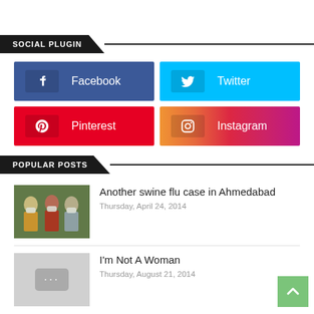SOCIAL PLUGIN
[Figure (infographic): Social media buttons: Facebook (blue), Twitter (cyan), Pinterest (red), Instagram (gradient pink-orange)]
POPULAR POSTS
[Figure (photo): People wearing face masks outdoors]
Another swine flu case in Ahmedabad
Thursday, April 24, 2014
[Figure (other): Placeholder image with dots]
I'm Not A Woman
Thursday, August 21, 2014